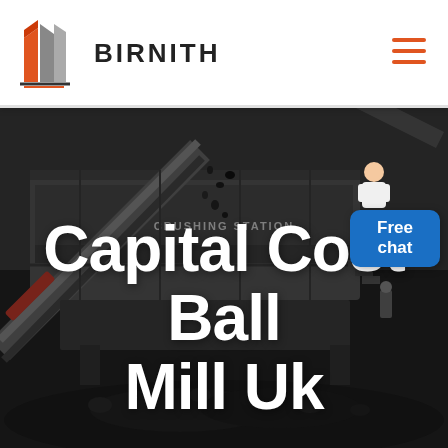[Figure (logo): Birnith company logo with red/orange building icon and BIRNITH text in bold]
[Figure (photo): Industrial crushing station with heavy machinery, conveyor belts, and a pile of coal/rocks in dark industrial setting]
Capital Cost Ball Mill Uk
Free chat